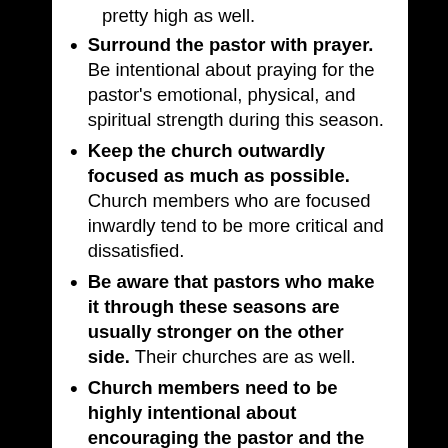pretty high as well.
Surround the pastor with prayer. Be intentional about praying for the pastor's emotional, physical, and spiritual strength during this season.
Keep the church outwardly focused as much as possible. Church members who are focused inwardly tend to be more critical and dissatisfied.
Be aware that pastors who make it through these seasons are usually stronger on the other side. Their churches are as well.
Church members need to be highly intentional about encouraging the pastor and the pastor's family. While they always need encouragement, they really need it during this season.